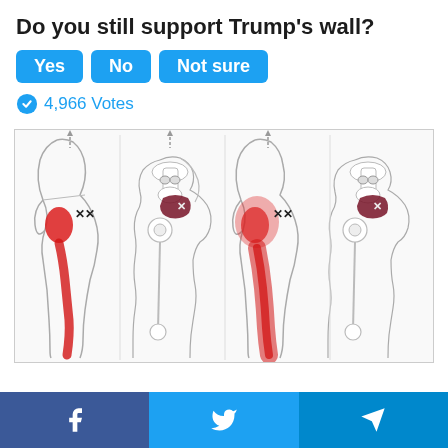Do you still support Trump's wall?
Yes | No | Not sure (poll buttons)
4,966 Votes
[Figure (illustration): Medical diagram showing four views of the human hip and leg, with red highlighted areas indicating pain patterns along the buttock, hip, and down the leg — consistent with piriformis syndrome or sciatic nerve pain diagrams.]
[Figure (infographic): Footer bar with Facebook, Twitter, and Telegram share icons]